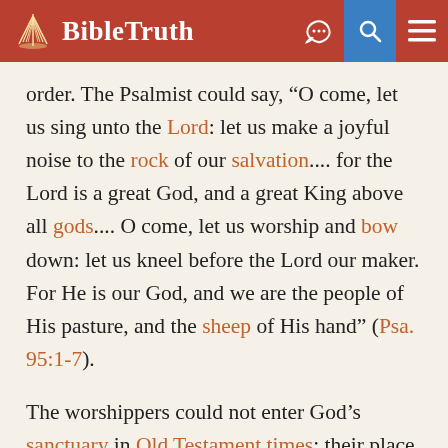BibleTruth
order. The Psalmist could say, “O come, let us sing unto the Lord: let us make a joyful noise to the rock of our salvation.... for the Lord is a great God, and a great King above all gods.... O come, let us worship and bow down: let us kneel before the Lord our maker. For He is our God, and we are the people of His pasture, and the sheep of His hand” (Psa. 95:1-7).
The worshippers could not enter God’s sanctuary in Old Testament times: their place of approach was its outer courts; and even the priests, except